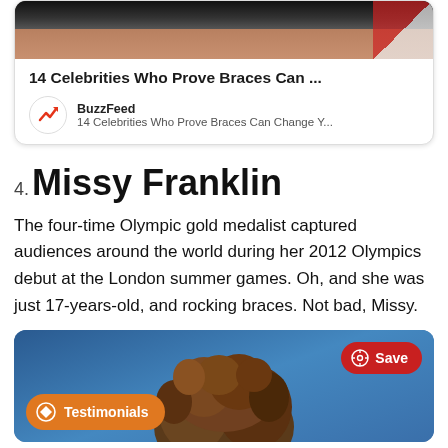[Figure (screenshot): Top portion of a BuzzFeed article card showing a celebrity photo (cropped), article title '14 Celebrities Who Prove Braces Can ...', BuzzFeed logo with upward trend arrow icon, and subtitle text '14 Celebrities Who Prove Braces Can Change Y...']
4. Missy Franklin
The four-time Olympic gold medalist captured audiences around the world during her 2012 Olympics debut at the London summer games. Oh, and she was just 17-years-old, and rocking braces. Not bad, Missy.
[Figure (screenshot): Bottom portion showing a photo of Missy Franklin with a blue background, a red 'Save' Pinterest button in the top-right, and an orange 'Testimonials' button in the bottom-left.]